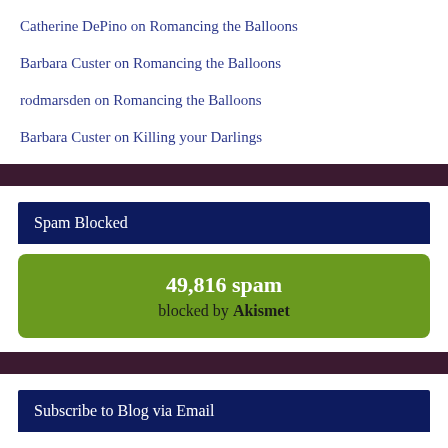Catherine DePino on Romancing the Balloons
Barbara Custer on Romancing the Balloons
rodmarsden on Romancing the Balloons
Barbara Custer on Killing your Darlings
Spam Blocked
49,816 spam blocked by Akismet
Subscribe to Blog via Email
Enter your email address to subscribe to this blog and receive notifications of new posts by email.